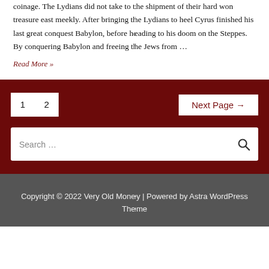coinage. The Lydians did not take to the shipment of their hard won treasure east meekly. After bringing the Lydians to heel Cyrus finished his last great conquest Babylon, before heading to his doom on the Steppes. By conquering Babylon and freeing the Jews from …
Read More »
1  2  Next Page →
Search …
Copyright © 2022 Very Old Money | Powered by Astra WordPress Theme